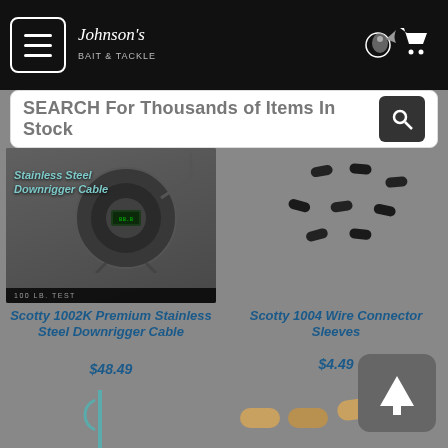[Figure (screenshot): Johnson's Bait & Tackle website header with hamburger menu, logo, and cart icon on black background]
SEARCH For Thousands of Items In Stock
[Figure (photo): Scotty Stainless Steel Downrigger Cable product image]
Scotty 1002K Premium Stainless Steel Downrigger Cable
$48.49
[Figure (photo): Scotty 1004 Wire Connector Sleeves product image showing black cylindrical sleeves]
Scotty 1004 Wire Connector Sleeves
$4.49
[Figure (photo): Partial product image bottom left - appears to be a wire tool]
[Figure (photo): Partial product image bottom right - appears to be brass connector sleeves]